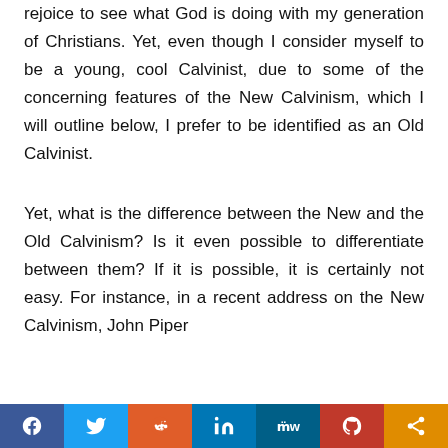rejoice to see what God is doing with my generation of Christians. Yet, even though I consider myself to be a young, cool Calvinist, due to some of the concerning features of the New Calvinism, which I will outline below, I prefer to be identified as an Old Calvinist.
Yet, what is the difference between the New and the Old Calvinism? Is it even possible to differentiate between them? If it is possible, it is certainly not easy. For instance, in a recent address on the New Calvinism, John Piper
[Figure (other): Social media share bar with Facebook, Twitter, Reddit, LinkedIn, MeWe, Parler, and generic share buttons]